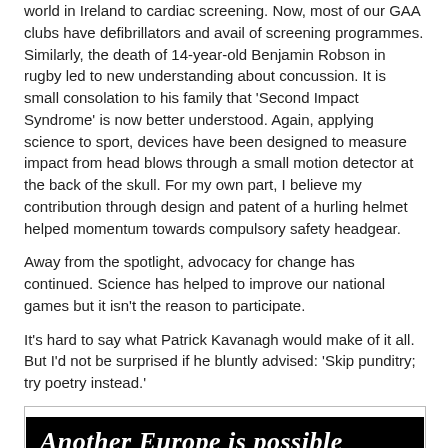world in Ireland to cardiac screening. Now, most of our GAA clubs have defibrillators and avail of screening programmes. Similarly, the death of 14-year-old Benjamin Robson in rugby led to new understanding about concussion. It is small consolation to his family that 'Second Impact Syndrome' is now better understood. Again, applying science to sport, devices have been designed to measure impact from head blows through a small motion detector at the back of the skull. For my own part, I believe my contribution through design and patent of a hurling helmet helped momentum towards compulsory safety headgear.
Away from the spotlight, advocacy for change has continued. Science has helped to improve our national games but it isn't the reason to participate.
It's hard to say what Patrick Kavanagh would make of it all. But I'd not be surprised if he bluntly advised: 'Skip punditry; try poetry instead.'
[Figure (infographic): Advertisement box with black banner reading 'Another Europe is possible' in italic bold white text, subtitle 'Grupa Cónasctha den Chlé Aontaithe Eorpach • den Chlé Ghlas Nordach', and a red and green checkmark/heart logo below.]